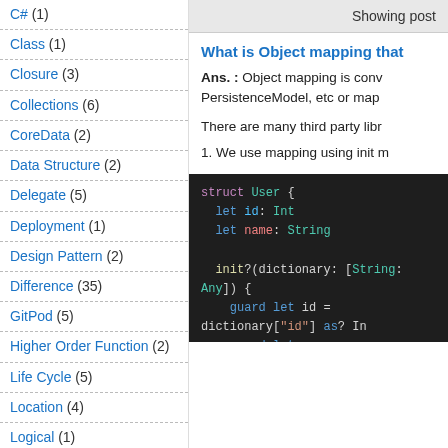C# (1)
Class (1)
Closure (3)
Collections (6)
CoreData (2)
Data Structure (2)
Delegate (5)
Deployment (1)
Design Pattern (2)
Difference (35)
GitPod (5)
Higher Order Function (2)
Life Cycle (5)
Location (4)
Logical (1)
Map (2)
Multithreading (7)
Showing post
What is Object mapping that
Ans. : Object mapping is conv PersistenceModel, etc or map
There are many third party libr
1. We use mapping using init m
[Figure (screenshot): Swift code block showing struct User with id: Int and name: String properties, and init?(dictionary: [String: Any]) initializer with guard let statements]